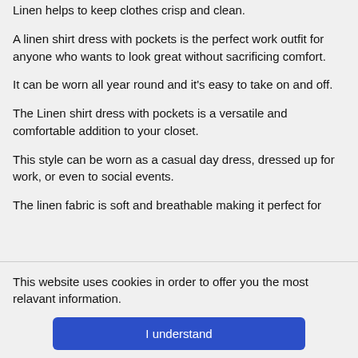Linen helps to keep clothes crisp and clean.
A linen shirt dress with pockets is the perfect work outfit for anyone who wants to look great without sacrificing comfort.
It can be worn all year round and it's easy to take on and off.
The Linen shirt dress with pockets is a versatile and comfortable addition to your closet.
This style can be worn as a casual day dress, dressed up for work, or even to social events.
The linen fabric is soft and breathable making it perfect for
This website uses cookies in order to offer you the most relavant information.
I understand